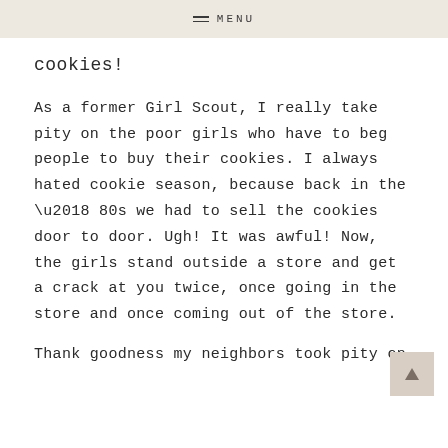MENU
cookies!
As a former Girl Scout, I really take pity on the poor girls who have to beg people to buy their cookies. I always hated cookie season, because back in the ‘80s we had to sell the cookies door to door. Ugh! It was awful! Now, the girls stand outside a store and get a crack at you twice, once going in the store and once coming out of the store.
Thank goodness my neighbors took pity on